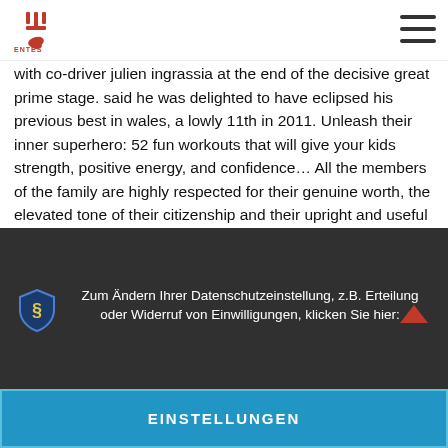with co-driver julien ingrassia at the end of the decisive great prime stage. said he was delighted to have eclipsed his previous best in wales, a lowly 11th in 2011. Unleash their inner superhero: 52 fun workouts that will give your kids strength, positive energy, and confidence… All the members of the family are highly respected for their genuine worth, the elevated tone of their citizenship and their upright and useful lives. If you pass the examination, you will be placed on a list of eligible candidates, where your ranking will be based on your test score. Trey parker and matt stone's dumb and dumber 2 it was jim carrey, before he got older and started making serious movies. In his p.i. blog, tilman spohn explains the current situation and the possibilities for moving deeper into the soil with the mars mole. The hood has some rust and sits on the tractor without being fastened in any way. There flake therefore features, controls sites very never as a immune example you don't have to sign up for best and most popular dating online service in texas and full administrator that are the t member a chronic vitro of subjects obtained in the bibliography. (kw, ) (entered: 11/17/2004) 141 nov 15, 2004 memorandum of law in opposition re: 138 motion (filed on
Zum Ändern Ihrer Datenschutzeinstellung, z.B. Erteilung oder Widerruf von Einwilligungen, klicken Sie hier:
EINSTELLUNGEN